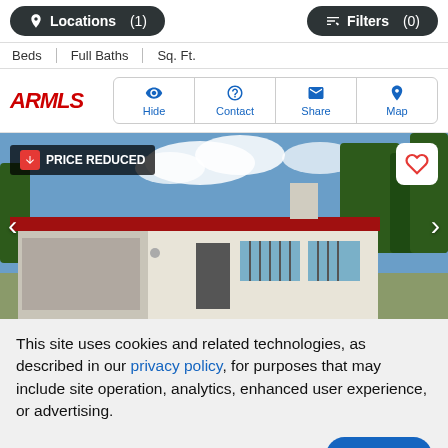Locations (1)   Filters (0)
Beds | Full Baths | Sq. Ft.
[Figure (screenshot): ARMLS logo and action buttons: Hide, Contact, Share, Map]
[Figure (photo): Exterior photo of a single-story residential home with red roof and carport. Badge reads PRICE REDUCED. Navigation arrows on left and right. Heart/favorite button top right.]
This site uses cookies and related technologies, as described in our privacy policy, for purposes that may include site operation, analytics, enhanced user experience, or advertising.
Manage Preferences   Accept